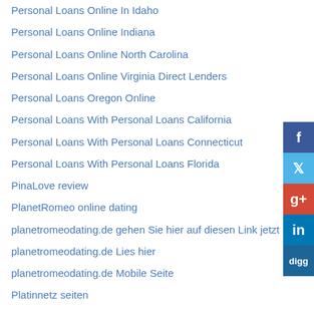Personal Loans Online In Idaho
Personal Loans Online Indiana
Personal Loans Online North Carolina
Personal Loans Online Virginia Direct Lenders
Personal Loans Oregon Online
Personal Loans With Personal Loans California
Personal Loans With Personal Loans Connecticut
Personal Loans With Personal Loans Florida
PinaLove review
PlanetRomeo online dating
planetromeodating.de gehen Sie hier auf diesen Link jetzt
planetromeodating.de Lies hier
planetromeodating.de Mobile Seite
Platinnetz seiten